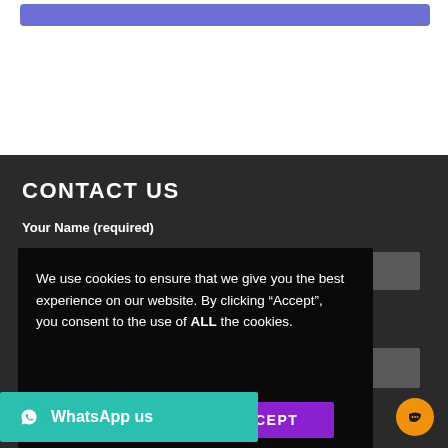[Figure (screenshot): Blue rounded bar/button near top of page on white background]
CONTACT US
Your Name (required)
We use cookies to ensure that we give you the best experience on our website. By clicking “Accept”, you consent to the use of ALL the cookies.
Cookie settings
ACCEPT
WhatsApp us